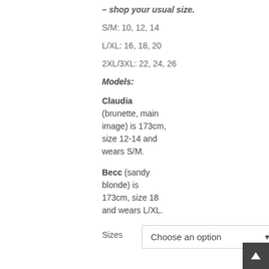– shop your usual size.
S/M: 10, 12, 14
L/XL: 16, 18, 20
2XL/3XL: 22, 24, 26
Models:
Claudia (brunette, main image) is 173cm, size 12-14 and wears S/M.
Becc (sandy blonde) is 173cm, size 18 and wears L/XL.
Sizes   Choose an option